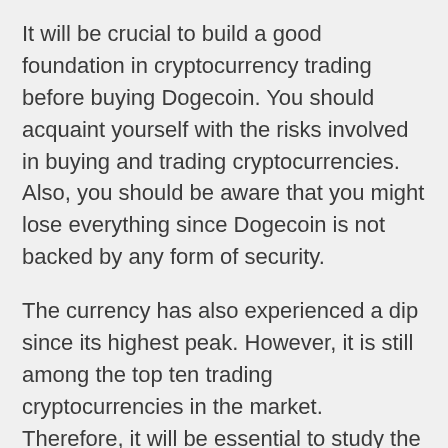It will be crucial to build a good foundation in cryptocurrency trading before buying Dogecoin. You should acquaint yourself with the risks involved in buying and trading cryptocurrencies. Also, you should be aware that you might lose everything since Dogecoin is not backed by any form of security.
The currency has also experienced a dip since its highest peak. However, it is still among the top ten trading cryptocurrencies in the market. Therefore, it will be essential to study the market when you decide to invest. Good timing is king in crypto trading. It is also paramount to trade with money you can afford to lose.